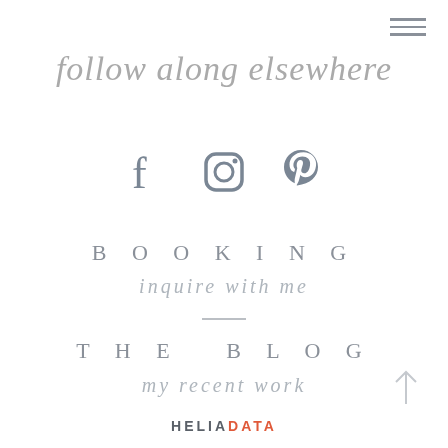[Figure (other): Hamburger menu icon (three horizontal lines) in top right corner]
follow along elsewhere
[Figure (other): Three social media icons: Facebook (f), Instagram (camera), Pinterest (p) in gray]
BOOKING
inquire with me
[Figure (other): Thin horizontal divider line]
THE BLOG
my recent work
HELIADATA